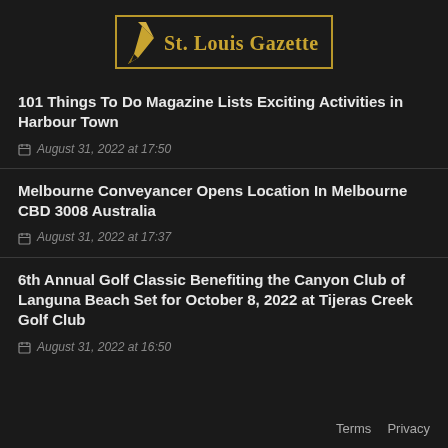[Figure (logo): St. Louis Gazette newspaper logo with golden pen icon and blackletter text in a gold-bordered box]
101 Things To Do Magazine Lists Exciting Activities in Harbour Town
August 31, 2022 at 17:50
Melbourne Conveyancer Opens Location In Melbourne CBD 3008 Australia
August 31, 2022 at 17:37
6th Annual Golf Classic Benefiting the Canyon Club of Languna Beach Set for October 8, 2022 at Tijeras Creek Golf Club
August 31, 2022 at 16:50
Terms   Privacy